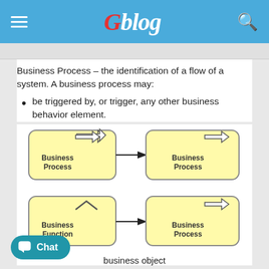Gblog
Business Process – the identification of a flow of a system. A business process may:
be triggered by, or trigger, any other business behavior element.
[Figure (flowchart): Two flowchart diagrams. Top: A 'Business Process' box (yellow, rounded, with arrow icon) connected via arrow to another 'Business Process' box. Bottom: A 'Business Function' box (yellow, rounded, with chevron icon) connected via arrow to a 'Business Process' box.]
business object